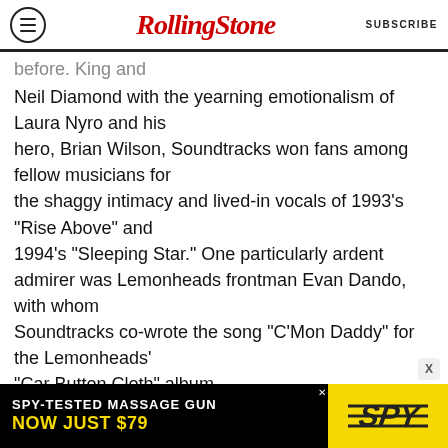Rolling Stone | SUBSCRIBE
...before. King and
Neil Diamond with the yearning emotionalism of Laura Nyro and his hero, Brian Wilson, Soundtracks won fans among fellow musicians for the shaggy intimacy and lived-in vocals of 1993’s “Rise Above” and 1994’s “Sleeping Star.” One particularly ardent admirer was Lemonheads frontman Evan Dando, with whom Soundtracks co-wrote the song “C’Mon Daddy” for the Lemonheads’ “Car Button Cloth” album.

Soundtracks’ solo records came closest to
[Figure (other): Advertisement banner: SPY-TESTED MASSAGE GUN NOW JUST $79 with SPY logo on yellow background]